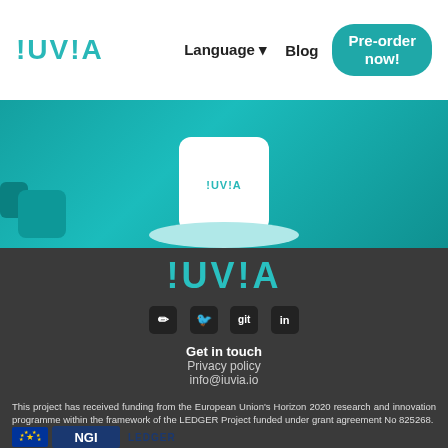!UVIA  Language ▾  Blog  Pre-order now!
[Figure (photo): Product photo: IUVIA white device on a light teal circular pedestal, teal background with teal geometric blocks on the left]
[Figure (logo): IUVIA logo in teal on dark gray footer background, with social media icons below (edit/blog, Twitter, GitHub git, LinkedIn)]
Get in touch
Privacy policy
info@iuvia.io
This project has received funding from the European Union's Horizon 2020 research and innovation programme within the framework of the LEDGER Project funded under grant agreement No 825268.
[Figure (logo): European Union logo (circle of stars) and NGI LEDGER logo]